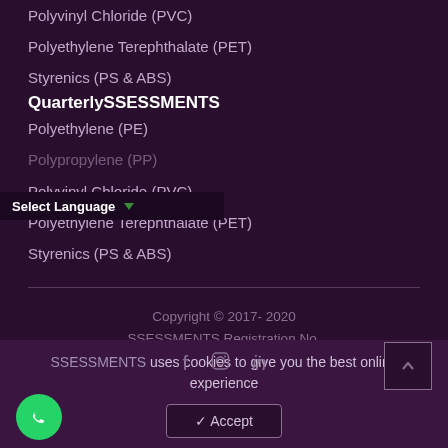Polyvinyl Chloride (PVC)
Polyethylene Terephthalate (PET)
Styrenics (PS & ABS)
QuarterlySSESSMENTS
Polyethylene (PE)
Polypropylene (PP)
Polyvinyl Chloride (PVC)
Polyethylene Terephthalate (PET)
Styrenics (PS & ABS)
Select Language
Copyright © 2017- 2020 SSESSMENTS Registration No. 201701026321 (1240487-K). All
SSESSMENTS uses cookies to give you the best online experience